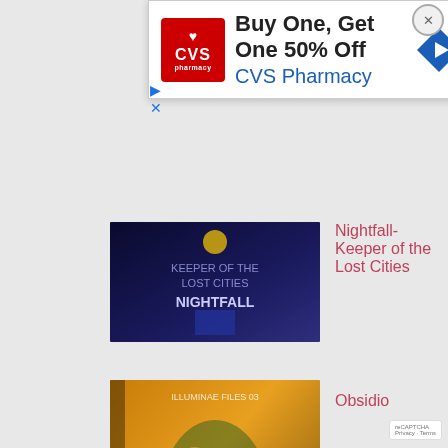[Figure (screenshot): CVS Pharmacy advertisement overlay showing 'Buy One, Get One 50% Off' with CVS logo and blue navigation arrow icon]
Nightfall-Keeper of the Lost Cities
[Figure (photo): Book cover for Nightfall - Keeper of the Lost Cities, dark blue fantasy cover]
Obsidio
[Figure (photo): Book cover for Obsidio by Rick Riordan, orange/gold fantasy cover with figures]
Pluto: The Bonus Heronew: Book 34